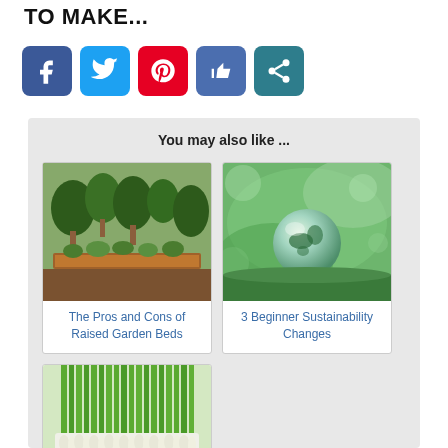TO MAKE...
[Figure (infographic): Social media sharing icons: Facebook (blue), Twitter (light blue), Pinterest (red), Like/thumbs-up (blue-purple), Share (teal)]
You may also like ...
[Figure (photo): Raised garden beds with plants and trees]
The Pros and Cons of Raised Garden Beds
[Figure (photo): A glass sphere resting on green grass, representing sustainability]
3 Beginner Sustainability Changes
[Figure (photo): Bundles of green onions/scallions]